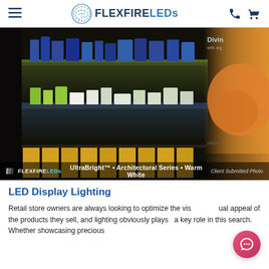FlexFire LEDs - navigation header with hamburger menu, logo, phone and cart icons
[Figure (photo): Retail display shelf lit with warm white LED strip lighting. Products arranged on illuminated shelves. FlexFire LEDs watermark at bottom reading: UltraBright™ • Architectural Series • Warm White. Client Submitted Photo.]
LED Display Lighting
Retail store owners are always looking to optimize the visual appeal of the products they sell, and lighting obviously plays a key role in this search. Whether showcasing precious...